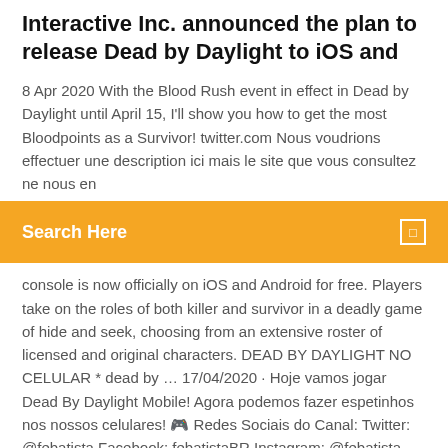Interactive Inc. announced the plan to release Dead by Daylight to iOS and
8 Apr 2020 With the Blood Rush event in effect in Dead by Daylight until April 15, I'll show you how to get the most Bloodpoints as a Survivor! twitter.com Nous voudrions effectuer une description ici mais le site que vous consultez ne nous en
Search Here
console is now officially on iOS and Android for free. Players take on the roles of both killer and survivor in a deadly game of hide and seek, choosing from an extensive roster of licensed and original characters. DEAD BY DAYLIGHT NO CELULAR * dead by … 17/04/2020 · Hoje vamos jogar Dead By Daylight Mobile! Agora podemos fazer espetinhos nos nossos celulares! 🎮 Redes Sociais do Canal: Twitter: @febatista Facebook: febatistaBR Instagram: @febatista Contato
Dead by Daylight Mobile is now available for free on ios and from